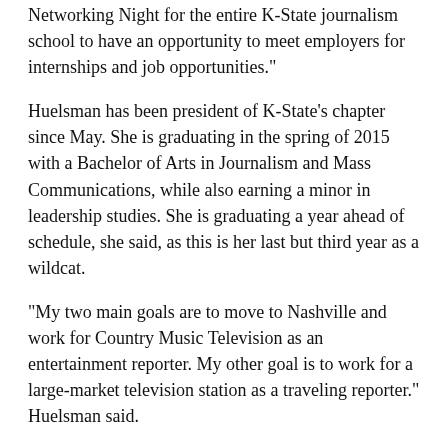Networking Night for the entire K-State journalism school to have an opportunity to meet employers for internships and job opportunities."
Huelsman has been president of K-State's chapter since May. She is graduating in the spring of 2015 with a Bachelor of Arts in Journalism and Mass Communications, while also earning a minor in leadership studies. She is graduating a year ahead of schedule, she said, as this is her last but third year as a wildcat.
“My two main goals are to move to Nashville and work for Country Music Television as an entertainment reporter. My other goal is to work for a large-market television station as a traveling reporter.” Huelsman said.
She joined SPJ to gain more knowledge about journalism — specifically the legal aspects of being a reporter. She also joined to make more connections and network with her peers and potential employers.